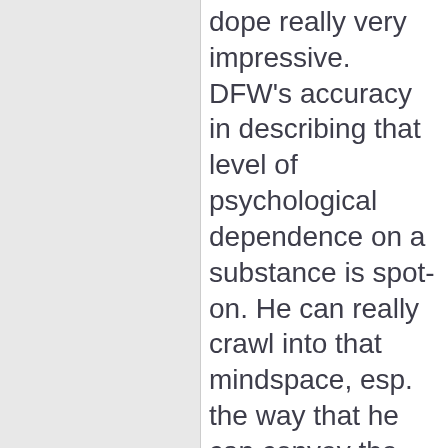dope really very impressive. DFW's accuracy in describing that level of psychological dependence on a substance is spot-on. He can really crawl into that mindspace, esp. the way that he can convey the paradoxical knowledge that one is obsessing while simultaneously obsessing: "...realized intellectually that the